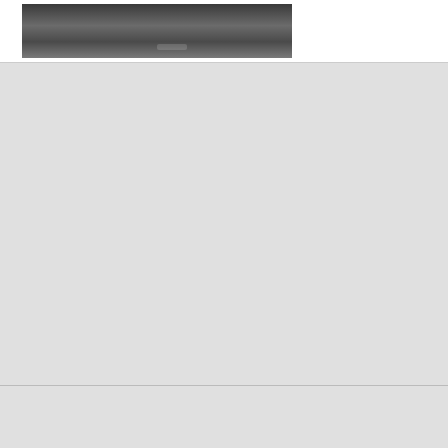[Figure (photo): Partial view of a boat or vehicle on a dock/ground surface, dark tones]
Copyright © 2022 boatsandstuff.com. All Rights Reserved.
Home |